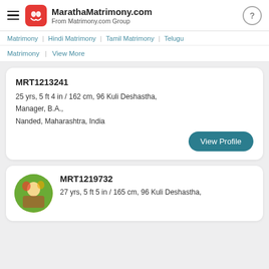MarathaMatrimony.com From Matrimony.com Group
Matrimony | Hindi Matrimony | Tamil Matrimony | Telugu
Matrimony | View More
MRT1213241
25 yrs, 5 ft 4 in / 162 cm, 96 Kuli Deshastha, Manager, B.A., Nanded, Maharashtra, India
View Profile
MRT1219732
27 yrs, 5 ft 5 in / 165 cm, 96 Kuli Deshastha,